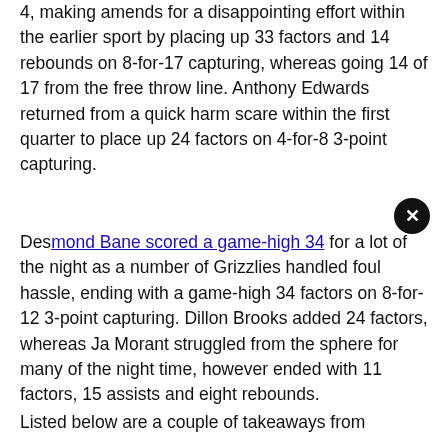4, making amends for a disappointing effort within the earlier sport by placing up 33 factors and 14 rebounds on 8-for-17 capturing, whereas going 14 of 17 from the free throw line. Anthony Edwards returned from a quick harm scare within the first quarter to place up 24 factors on 4-for-8 3-point capturing.
Desmond Bane scored a game-high 34 factors for a lot of the night as a number of Grizzlies handled foul hassle, ending with a game-high 34 factors on 8-for-12 3-point capturing. Dillon Brooks added 24 factors, whereas Ja Morant struggled from the sphere for many of the night time, however ended with 11 factors, 15 assists and eight rebounds.
Listed below are a couple of takeaways from